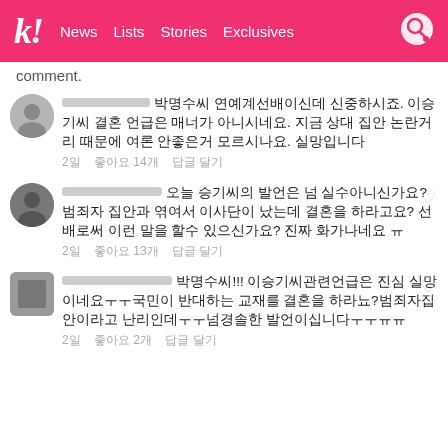k! News Lists Stories Exclusives
comment.
박명수씨 연예계선배이신데 신중하시죠. 이승기씨 결혼 언급은 매너가 아니시네요. 지금 상대 집안 논란거리 때문에 여론 안좋은거 모르시나요. 실망입니다
2일   좋아요 14개   답글 달기
오늘 승기씨의 발언은 넘 실수아니신가요? 범죄자 집안과 엮여서 이사단이 났는데 결혼을 하라고요? 선배로써 이런 말을 할수 있으신가요? 진짜 화가나네요 ㅠ
2일   좋아요 13개   답글 달기
박명수씨!!! 이승기씨관련언급은 진심 실망이네요ㅜㅜ국민이 반대하는 교재를 결혼을 하라뇨?범죄자집안이라고 난리인데ㅜㅜ넘경솔한 발언이십니다ㅜㅜㅠㅠ
2일   좋아요 2개   답글 달기